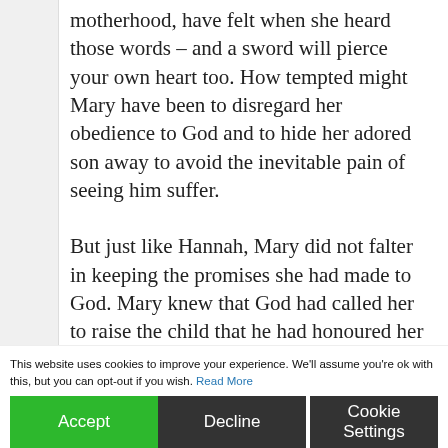motherhood, have felt when she heard those words – and a sword will pierce your own heart too. How tempted might Mary have been to disregard her obedience to God and to hide her adored son away to avoid the inevitable pain of seeing him suffer.
But just like Hannah, Mary did not falter in keeping the promises she had made to God. Mary knew that God had called her to raise the child that he had honoured her with bearing in order that he might fulfil his destiny as God's Son.
Two women who probably appeared as pretty [ordinary members of their] communities but w[ere] chosen by God to be extraordinary parts of His
This website uses cookies to improve your experience. We'll assume you're ok with this, but you can opt-out if you wish. Read More